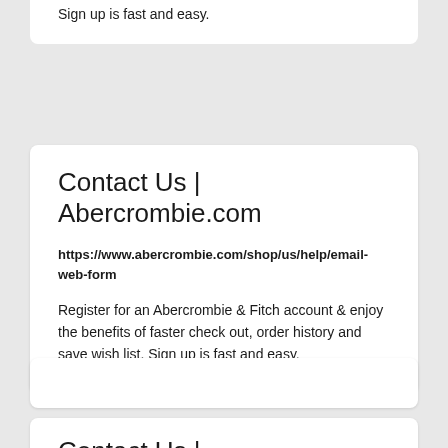Sign up is fast and easy.
Contact Us | Abercrombie.com
https://www.abercrombie.com/shop/us/help/email-web-form
Register for an Abercrombie & Fitch account & enjoy the benefits of faster check out, order history and save wish list. Sign up is fast and easy.
Contact Us | Abercrombie.com
https://www.abercrombie.com/shop/us/help/email-web-form